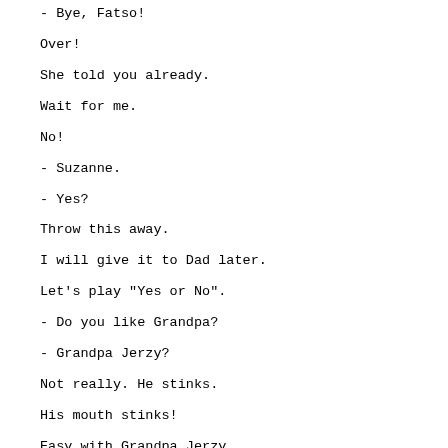- Bye, Fatso!
Over!
She told you already.
Wait for me.
No!
- Suzanne.
- Yes?
Throw this away.
I will give it to Dad later.
Let's play "Yes or No".
- Do you like Grandpa?
- Grandpa Jerzy?
Not really. He stinks.
His mouth stinks!
Easy with Grandpa Jerzy.